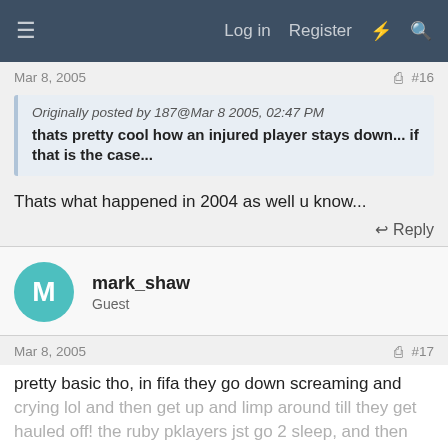≡  Log in  Register  ⚡  🔍
Mar 8, 2005  #16
Originally posted by 187@Mar 8 2005, 02:47 PM
thats pretty cool how an injured player stays down... if that is the case...
Thats what happened in 2004 as well u know...
Reply
mark_shaw
Guest
Mar 8, 2005  #17
pretty basic tho, in fifa they go down screaming and crying lol and then get up and limp around till they get hauled off! the ruby pklayers jst go 2 sleep, and then afterwards it says broken hand.